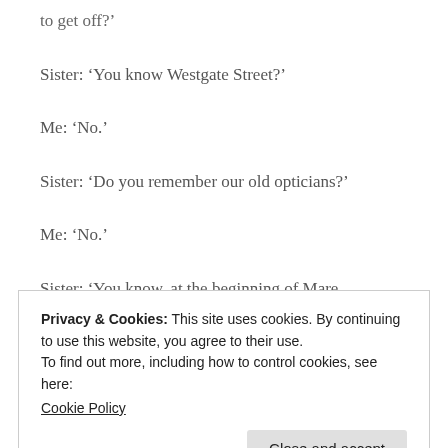to get off?'
Sister: ‘You know Westgate Street?’
Me: ‘No.’
Sister: ‘Do you remember our old opticians?’
Me: ‘No.’
Sister: ‘You know, at the beginning of Mare Street—the Town Hall?’
Privacy & Cookies: This site uses cookies. By continuing to use this website, you agree to their use.
To find out more, including how to control cookies, see here:
Cookie Policy
Close and accept
far if you’re at the Town Hall.’